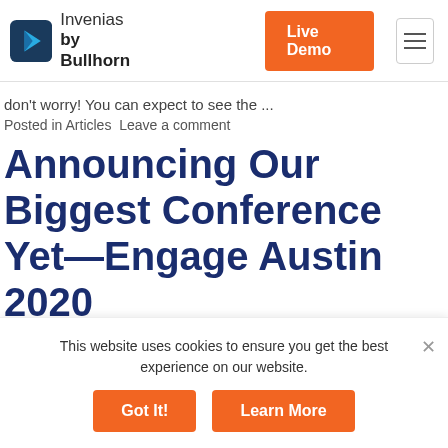[Figure (logo): Invenias by Bullhorn logo with blue play-button icon and text]
don't worry! You can expect to see the ...
Posted in Articles  Leave a comment
Announcing Our Biggest Conference Yet—Engage Austin 2020
This website uses cookies to ensure you get the best experience on our website.